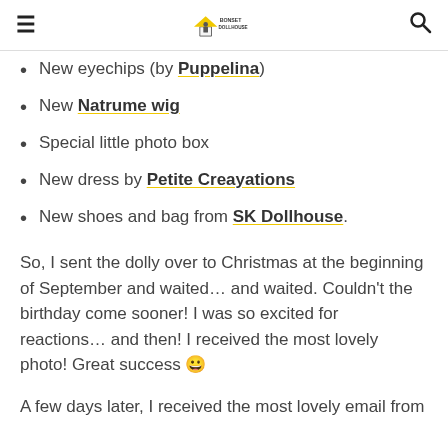Bonset Dollhouse logo, hamburger menu, search icon
New eyechips (by Puppelina)
New Natrume wig
Special little photo box
New dress by Petite Creayations
New shoes and bag from SK Dollhouse.
So, I sent the dolly over to Christmas at the beginning of September and waited… and waited. Couldn't the birthday come sooner! I was so excited for reactions… and then! I received the most lovely photo! Great success 😀
A few days later, I received the most lovely email from